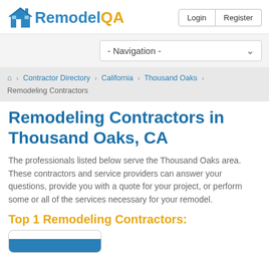[Figure (logo): RemodelQA logo with house icon, 'Remodel' in blue and 'QA' in gold/yellow]
Login | Register
- Navigation -
Home > Contractor Directory > California > Thousand Oaks > Remodeling Contractors
Remodeling Contractors in Thousand Oaks, CA
The professionals listed below serve the Thousand Oaks area. These contractors and service providers can answer your questions, provide you with a quote for your project, or perform some or all of the services necessary for your remodel.
Top 1 Remodeling Contractors:
[Figure (screenshot): Partial card stub visible at bottom of page with blue bar]